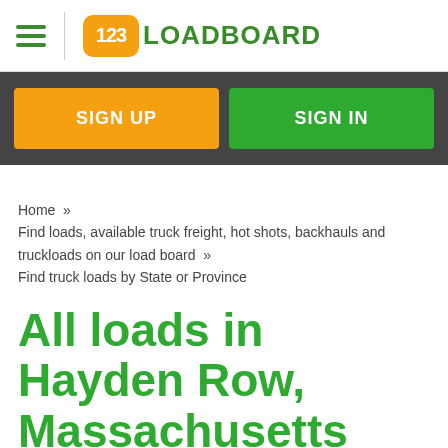123LOADBOARD
SIGN UP
SIGN IN
Home » Find loads, available truck freight, hot shots, backhauls and truckloads on our load board » Find truck loads by State or Province
All loads in Hayden Row, Massachusetts